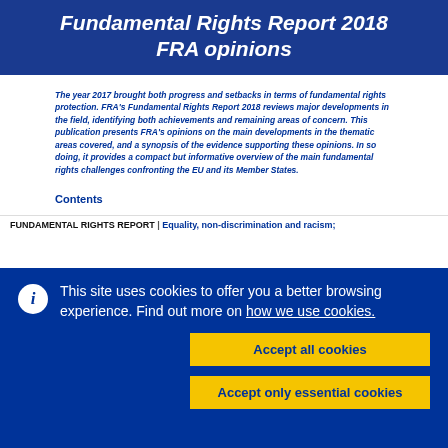Fundamental Rights Report 2018 FRA opinions
The year 2017 brought both progress and setbacks in terms of fundamental rights protection. FRA's Fundamental Rights Report 2018 reviews major developments in the field, identifying both achievements and remaining areas of concern. This publication presents FRA's opinions on the main developments in the thematic areas covered, and a synopsis of the evidence supporting these opinions. In so doing, it provides a compact but informative overview of the main fundamental rights challenges confronting the EU and its Member States.
Contents
FUNDAMENTAL RIGHTS REPORT | Equality, non-discrimination and racism;
This site uses cookies to offer you a better browsing experience. Find out more on how we use cookies.
Accept all cookies
Accept only essential cookies